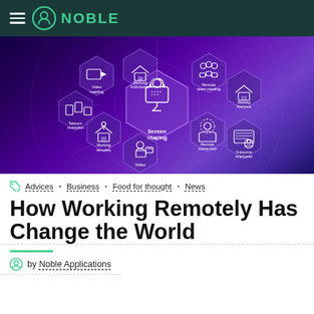NOBLE
[Figure (illustration): Purple gradient banner image showing remote work concept with hexagonal icons for Video meeting, Working from home, Screen sharing, Working remotely, Remote team meeting, Working freelance, Remote connection, Outsource employees, and Video icons arranged in a honeycomb pattern on a purple/violet background.]
Advices · Business · Food for thought · News
How Working Remotely Has Change the World
by Noble Applications